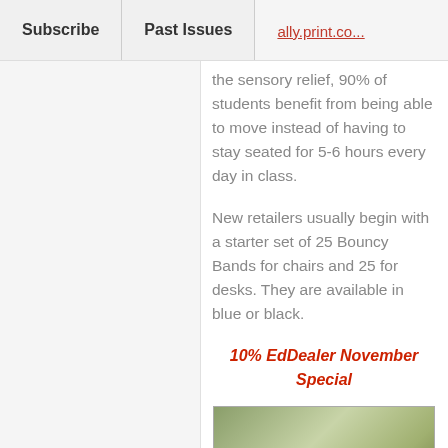Subscribe | Past Issues
the sensory relief, 90% of students benefit from being able to move instead of having to stay seated for 5-6 hours every day in class.
New retailers usually begin with a starter set of 25 Bouncy Bands for chairs and 25 for desks. They are available in blue or black.
10% EdDealer November Special
[Figure (photo): A classroom photo showing a student at a desk, with a YouTube play button overlay in the center.]